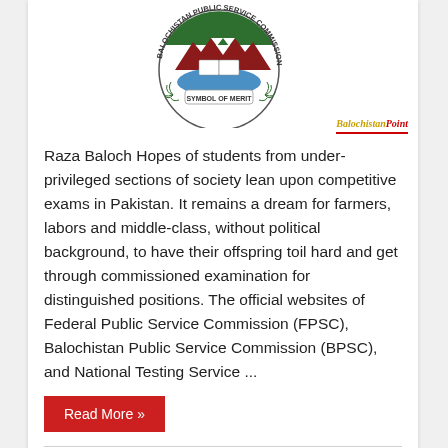[Figure (logo): BPSC (Balochistan Public Service Commission) circular emblem with 'Symbol of Merit' text, mountains, book and water imagery, plus BalochistanPoint watermark logo in bottom right]
Raza Baloch Hopes of students from under-privileged sections of society lean upon competitive exams in Pakistan. It remains a dream for farmers, labors and middle-class, without political background, to have their offspring toil hard and get through commissioned examination for distinguished positions. The official websites of Federal Public Service Commission (FPSC), Balochistan Public Service Commission (BPSC), and National Testing Service ...
Read More »
Candidates Oppose Changes In BPSC Verification Rules